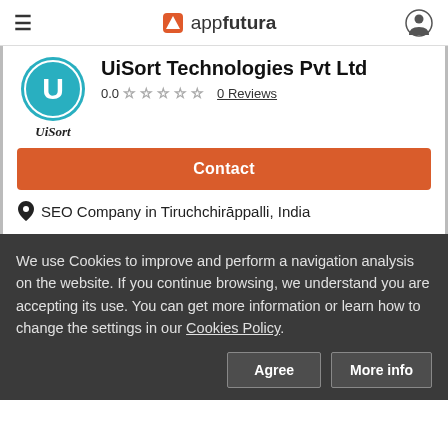appfutura
[Figure (logo): UiSort company logo — circular teal badge with U letter and UiSort text below]
UiSort Technologies Pvt Ltd
0.0 ☆☆☆☆☆ 0 Reviews
Contact
SEO Company in Tiruchchirāppalli, India
We use Cookies to improve and perform a navigation analysis on the website. If you continue browsing, we understand you are accepting its use. You can get more information or learn how to change the settings in our Cookies Policy.
Agree  More info